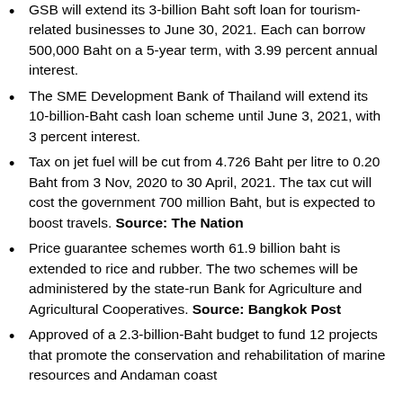GSB will extend its 3-billion Baht soft loan for tourism-related businesses to June 30, 2021. Each can borrow 500,000 Baht on a 5-year term, with 3.99 percent annual interest.
The SME Development Bank of Thailand will extend its 10-billion-Baht cash loan scheme until June 3, 2021, with 3 percent interest.
Tax on jet fuel will be cut from 4.726 Baht per litre to 0.20 Baht from 3 Nov, 2020 to 30 April, 2021. The tax cut will cost the government 700 million Baht, but is expected to boost travels. Source: The Nation
Price guarantee schemes worth 61.9 billion baht is extended to rice and rubber. The two schemes will be administered by the state-run Bank for Agriculture and Agricultural Cooperatives. Source: Bangkok Post
Approved of a 2.3-billion-Baht budget to fund 12 projects that promote the conservation and rehabilitation of marine resources and Andaman coast